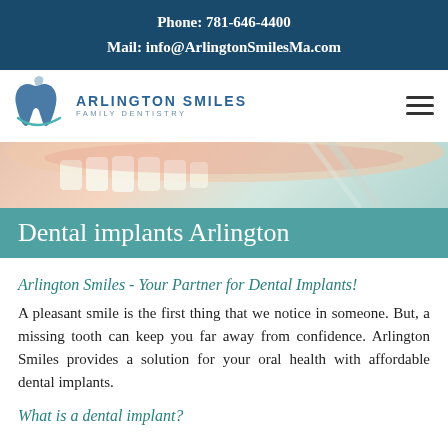Phone: 781-646-4400
Mail: info@ArlingtonSmilesMa.com
[Figure (logo): Arlington Smiles Family Dentistry logo with tooth graphic in blue and grey]
[Figure (photo): Close-up photo of dental implants and teeth]
Dental implants Arlington
Arlington Smiles - Your Partner for Dental Implants!
A pleasant smile is the first thing that we notice in someone. But, a missing tooth can keep you far away from confidence. Arlington Smiles provides a solution for your oral health with affordable dental implants.
What is a dental implant?